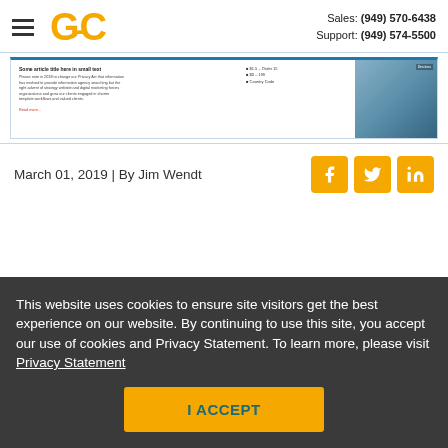GC | Sales: (949) 570-6438 | Support: (949) 574-5500
[Figure (screenshot): Article preview thumbnail with text and map image]
March 01, 2019 | By Jim Wendt
[Figure (infographic): Social share buttons: Facebook, Twitter, LinkedIn]
This website uses cookies to ensure site visitors get the best experience on our website. By continuing to use this site, you accept our use of cookies and Privacy Statement. To learn more, please visit Privacy Statement